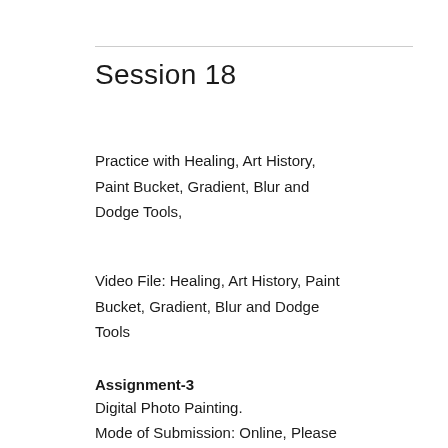Session 18
Practice with Healing, Art History, Paint Bucket, Gradient, Blur and Dodge Tools,
Video File: Healing, Art History, Paint Bucket, Gradient, Blur and Dodge Tools
Assignment-3
Digital Photo Painting.
Mode of Submission: Online, Please upload the assignment into the